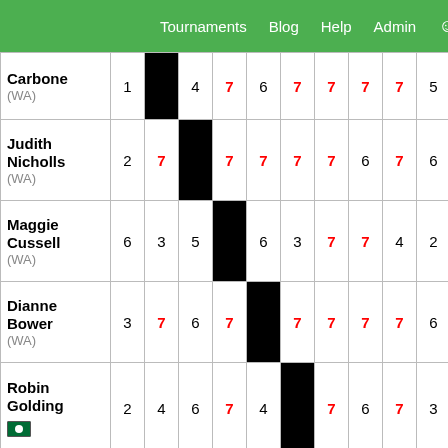Tournaments  Blog  Help  Admin
| Player | # | 1 | 2 | 3 | 4 | 5 | 6 | 7 | 8 | Score |
| --- | --- | --- | --- | --- | --- | --- | --- | --- | --- | --- |
| Carbone (WA) | 1 |  | 4 | 7 | 6 | 7 | 7 | 7 | 7 | 5 |
| Judith Nicholls (WA) | 2 | 7 |  | 7 | 7 | 7 | 7 | 6 | 7 | 6 |
| Maggie Cussell (WA) | 6 | 3 | 5 |  | 6 | 3 | 7 | 7 | 4 | 2 |
| Dianne Bower (WA) | 3 | 7 | 6 | 7 |  | 7 | 7 | 7 | 7 | 6 |
| Robin Golding | 2 | 4 | 6 | 7 | 4 |  | 7 | 6 | 7 | 3 |
| Jill Nottle | 0 | 3 | 1 | 5 | 6 | 6 |  | 4 | 7 | 1 |